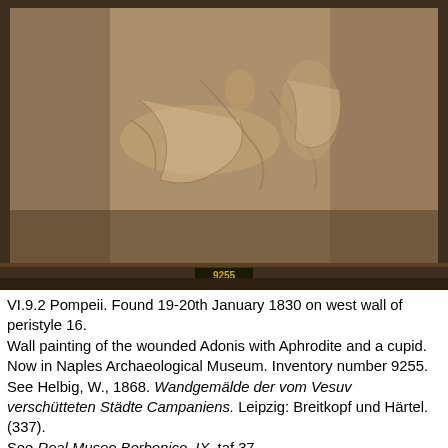[Figure (photo): Photograph of an ancient Roman wall painting (fresco) showing the wounded Adonis with Aphrodite and a cupid, displayed in a dark wooden frame. A yellow label with '9255' is visible at the bottom center of the frame.]
VI.9.2 Pompeii. Found 19-20th January 1830 on west wall of peristyle 16.
Wall painting of the wounded Adonis with Aphrodite and a cupid. Now in Naples Archaeological Museum. Inventory number 9255.
See Helbig, W., 1868. Wandgemälde der vom Vesuv verschütteten Städte Campaniens. Leipzig: Breitkopf und Härtel. (337).
See Real Museo Borbonico, IX, taf 37.
[Figure (photo): Photograph of another ancient Roman wall painting or fragment displayed in a dark wooden frame, showing a horizontal landscape or architectural scene with muted blue and ochre tones.]